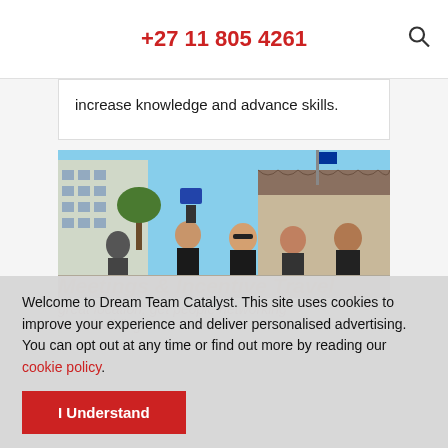+27 11 805 4261
increase knowledge and advance skills.
[Figure (photo): Group of people outdoors in a city square, with historic stone building and modern building in background, one person holding up a book/tablet for a selfie.]
Welcome to Dream Team Catalyst. This site uses cookies to improve your experience and deliver personalised advertising. You can opt out at any time or find out more by reading our cookie policy.
Meetings & Incentive Travel
great location, get people networking team building.